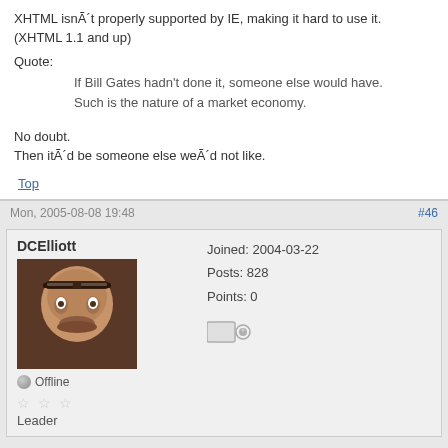XHTML isnÃ´t properly supported by IE, making it hard to use it. (XHTML 1.1 and up)
Quote:
If Bill Gates hadn't done it, someone else would have.
Such is the nature of a market economy.
No doubt.
Then itÃ´d be someone else weÃ´d not like.
Top
Mon, 2005-08-08 19:48
#46
DCElliott
Joined: 2004-03-22
Posts: 828
Points: 0
Offline
Leader